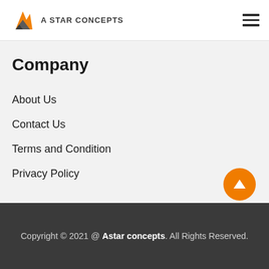A STAR CONCEPTS
Company
About Us
Contact Us
Terms and Condition
Privacy Policy
Copyright © 2021 @ Astar concepts. All Rights Reserved.